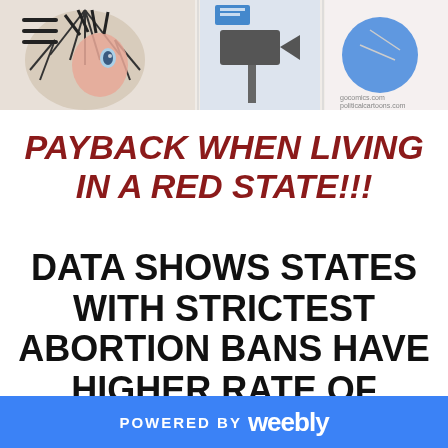[Figure (illustration): Banner image with political cartoons/illustrations across the top of the page]
PAYBACK WHEN LIVING IN A RED STATE!!!
DATA SHOWS STATES WITH STRICTEST ABORTION BANS HAVE HIGHER RATE OF CHILD POVERTY
BY SHARON ZHANG
POWERED BY weebly